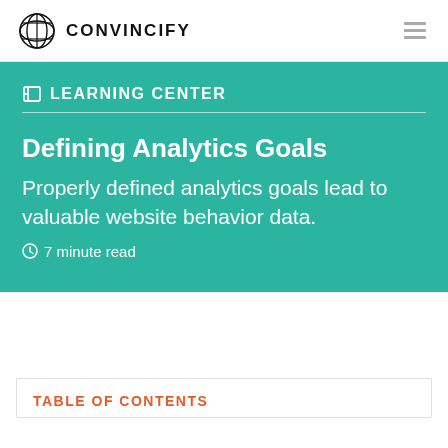CONVINCIFY
LEARNING CENTER
Defining Analytics Goals
Properly defined analytics goals lead to valuable website behavior data.
7 minute read
TABLE OF CONTENTS